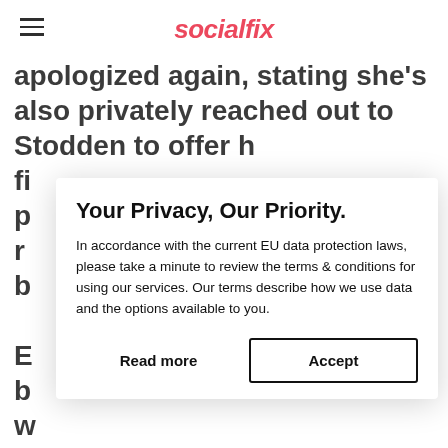socialfix
apologized again, stating she's also privately reached out to Stodden to offer h
fi
p
r
b
E
b
w
Your Privacy, Our Priority.
In accordance with the current EU data protection laws, please take a minute to review the terms & conditions for using our services. Our terms describe how we use data and the options available to you.
Read more
Accept